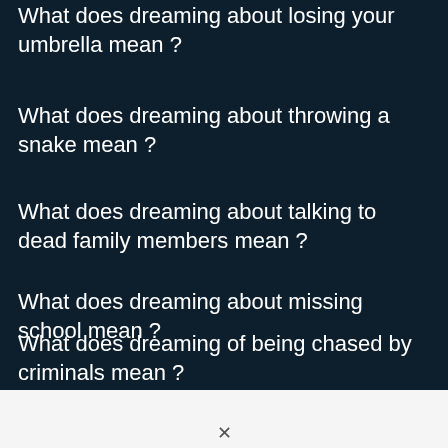What does dreaming about losing your umbrella mean ?
What does dreaming about throwing a snake mean ?
What does dreaming about talking to dead family members mean ?
What does dreaming about missing school mean ?
What does dreaming of being chased by criminals mean ?